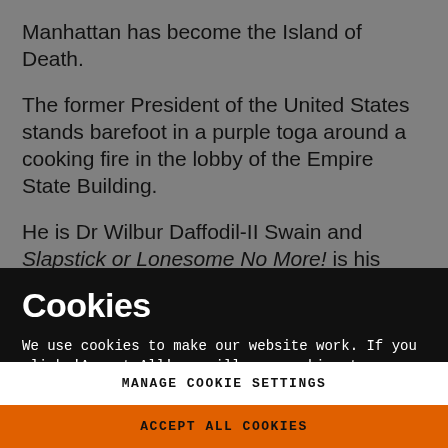Manhattan has become the Island of Death.
The former President of the United States stands barefoot in a purple toga around a cooking fire in the lobby of the Empire State Building.
He is Dr Wilbur Daffodil-II Swain and Slapstick or Lonesome No More! is his story – one of monstrous
Cookies
We use cookies to make our website work. If you click 'Accept All' we will use cookies to understand how you use our services and to show you personalised advertising and other content. You can change your cookie settings by clicking 'Manage Cookies'. For more information please see our cookie policy
MANAGE COOKIE SETTINGS
ACCEPT ALL COOKIES